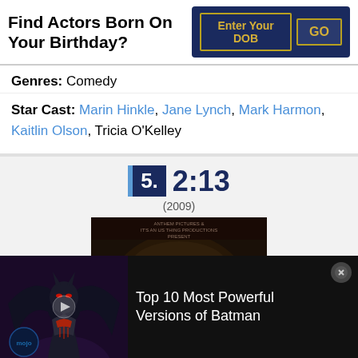Find Actors Born On Your Birthday?
Genres: Comedy
Star Cast: Marin Hinkle, Jane Lynch, Mark Harmon, Kaitlin Olson, Tricia O'Kelley
5. 2:13 (2009)
[Figure (photo): Movie poster for 'Two: Thirteen' (2:13), a horror-style film with dark imagery and the title text 'TWO:THIRTEEN' overlaid on a creepy background]
[Figure (photo): Advertisement banner for 'Top 10 Most Powerful Versions of Batman' featuring a dark armored Batman illustration with a WatchMojo logo and play button]